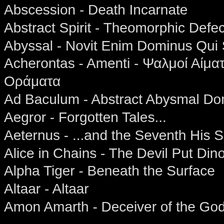Abscession - Death Incarnate
Abstract Spirit - Theomorphic Defecti
Abyssal - Novit Enim Dominus Qui Su
Acherontas - Amenti - Ψαλμοί Αίματος Οράματα
Ad Baculum - Abstract Abysmal Doma
Aegror - Forgotten Tales...
Aeternus - ...and the Seventh His Soul
Alice in Chains - The Devil Put Dinosa
Alpha Tiger - Beneath the Surface
Altaar - Altaar
Amon Amarth - Deceiver of the Gods